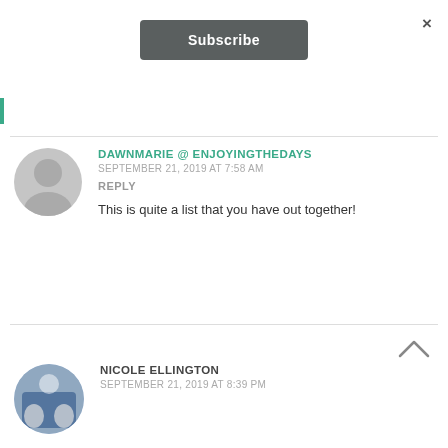×
Subscribe
DAWNMARIE @ ENJOYINGTHEDAYS
SEPTEMBER 21, 2019 AT 7:58 AM
REPLY
This is quite a list that you have out together!
NICOLE ELLINGTON
SEPTEMBER 21, 2019 AT 8:39 PM